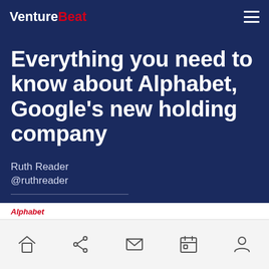VentureBeat
Everything you need to know about Alphabet, Google's new holding company
Ruth Reader
@ruthreader
August 12, 2015 12:54 PM
Alphabet
Home, Share, Mail, Calendar, Profile icons